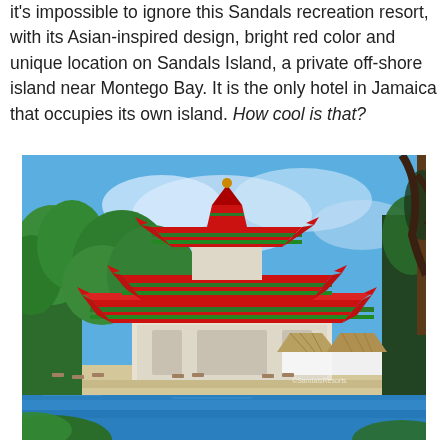it's impossible to ignore this Sandals recreation resort, with its Asian-inspired design, bright red color and unique location on Sandals Island, a private off-shore island near Montego Bay. It is the only hotel in Jamaica that occupies its own island. How cool is that?
[Figure (photo): Photograph of a Sandals resort building with an Asian-inspired bright red multi-tiered roof pagoda style structure, surrounded by tropical trees, with thatched-roof beach cabanas in the foreground and blue water visible in the front.]